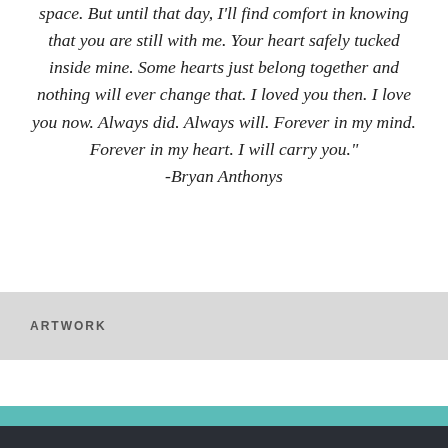space.  But until that day, I'll find comfort in knowing that you are still with me.  Your heart safely tucked inside mine.  Some hearts just belong together and nothing will ever change that.  I loved you then.  I love you now.  Always did.  Always will.  Forever in my mind.  Forever in my heart.  I will carry you." -Bryan Anthonys
Pages: 1 2
ARTWORK